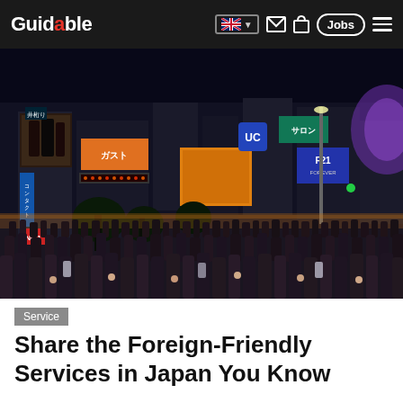Guidable | Service | Share the Foreign-Friendly Services in Japan You Know
[Figure (photo): Night photo of Shibuya crossing in Tokyo, Japan, packed with crowds and illuminated by colorful billboard advertisements including F21 Forever and various Japanese signs]
Service
Share the Foreign-Friendly Services in Japan You Know